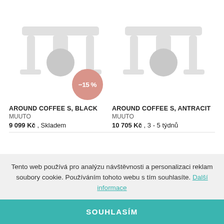[Figure (illustration): Two minimalist coffee table product illustrations (chairs/tables) side by side. Left one has a discount badge showing -15%. Both are light gray silhouettes on white background.]
AROUND COFFEE S, BLACK
MUUTO
9 099 Kč , Skladem
AROUND COFFEE S, ANTRACIT
MUUTO
10 705 Kč , 3 - 5 týdnů
Tento web používá pro analýzu návštěvnosti a personalizaci reklam soubory cookie. Používáním tohoto webu s tím souhlasíte. Další informace
SOUHLASÍM